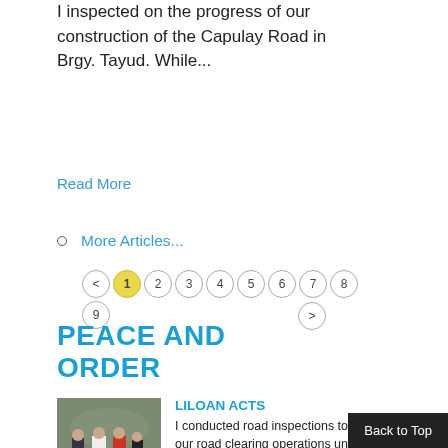I inspected on the progress of our construction of the Capulay Road in Brgy. Tayud. While...
Read More
More Articles...
< 1 2 3 4 5 6 7 8 9 >
PEACE AND ORDER
[Figure (photo): People standing outdoors, one person in red shirt, others in casual clothing]
LILOAN ACTS
I conducted road inspections today in relation to our road clearing operations under our LILOAN...
Back to Top